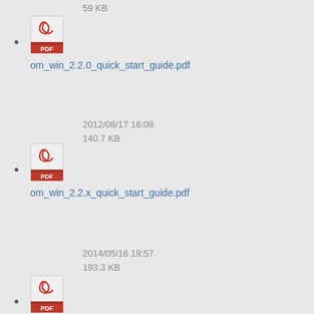59 KB
om_win_2.2.0_quick_start_guide.pdf
2012/08/17 16:08
140.7 KB
om_win_2.2.x_quick_start_guide.pdf
2014/05/16 19:57
193.3 KB
om_windows_1.4.1_releasenotes.pdf
2012/08/10 19:49
115.4 KB
om_windows_1.4.2_releasenotes.pdf